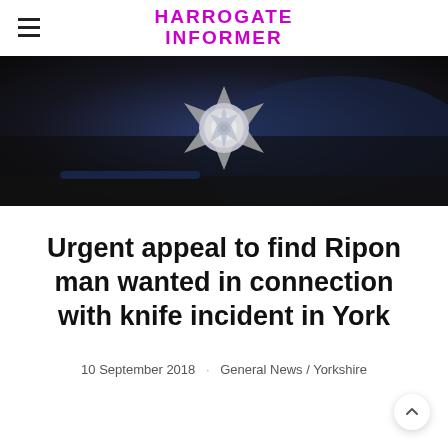HARROGATE INFORMER
[Figure (photo): Dark image of North Yorkshire Police badge/crest on a police vehicle]
Urgent appeal to find Ripon man wanted in connection with knife incident in York
10 September 2018  ·  General News / Yorkshire